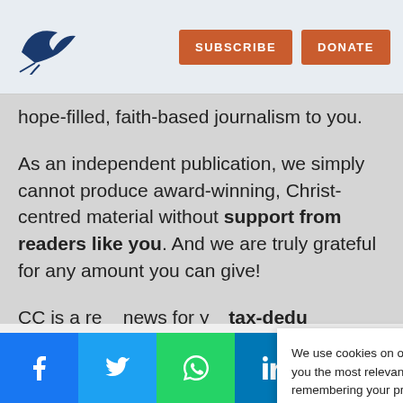SUBSCRIBE | DONATE
hope-filled, faith-based journalism to you.
As an independent publication, we simply cannot produce award-winning, Christ-centred material without support from readers like you. And we are truly grateful for any amount you can give!
CC is a re... news for y... tax-dedu...
We use cookies on our website to give you the most relevant experience by remembering your preferences and repeat visits. By clicking “Accept”, you consent to the use of ALL the cookies.
Cookie settings | ACCEPT